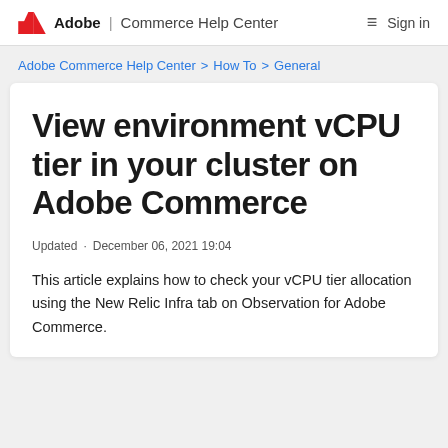Adobe | Commerce Help Center   ≡  Sign in
Adobe Commerce Help Center > How To > General
View environment vCPU tier in your cluster on Adobe Commerce
Updated · December 06, 2021 19:04
This article explains how to check your vCPU tier allocation using the New Relic Infra tab on Observation for Adobe Commerce.